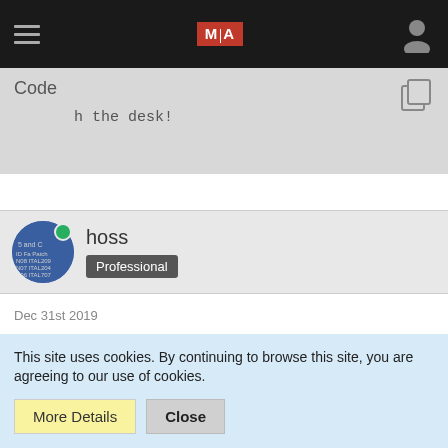MA [logo] navigation bar
Code
h the desk!
hoss
Professional
Dec 31st 2019
Here is the start of a plugin that seems to work.
This site uses cookies. By continuing to browse this site, you are agreeing to our use of cookies.
More Details
Close